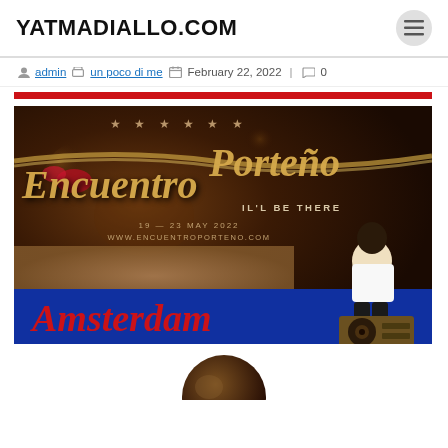YATMADIALLO.COM
admin | un poco di me | February 22, 2022 | 0
[Figure (photo): Event banner for Encuentro Porteño festival in Amsterdam, May 19-23 2022. Dark background with gold cursive text reading 'Encuentro Porteño', stars, 'IL'L BE THERE', website www.encuentroporteno.com, and red cursive 'Amsterdam'. A man in white shirt sits with DJ equipment at right. Red top border and blue bottom border on the banner.]
[Figure (photo): Partial circular photo preview at bottom of page, showing bokeh/dark background, likely another event photo.]